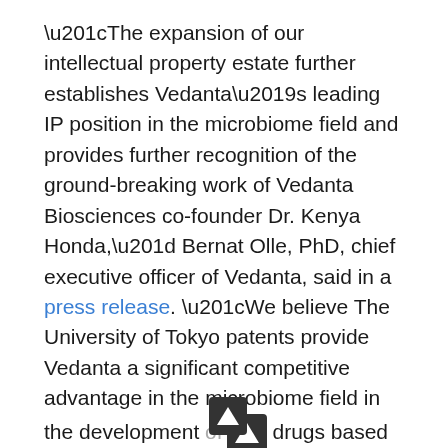“The expansion of our intellectual property estate further establishes Vedanta’s leading IP position in the microbiome field and provides further recognition of the ground-breaking work of Vedanta Biosciences co-founder Dr. Kenya Honda,” Bernat Olle, PhD, chief executive officer of Vedanta, said in a press release. “We believe The University of Tokyo patents provide Vedanta a significant competitive advantage in the microbiome field in the development of drugs based on bacterial consortia.”
The affiliate of PureTech Health received